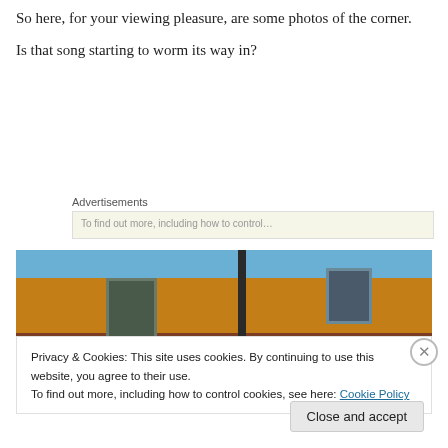So here, for your viewing pleasure, are some photos of the corner.
Is that song starting to worm its way in?
Advertisements
[Figure (photo): Brick wall of a building in Winslow, Arizona. Text painted on wall reads 'WINSLOW ★ ARIZONA'. Blue sky visible at top. A vertical pole/post divides the image. Windows visible on the building.]
Privacy & Cookies: This site uses cookies. By continuing to use this website, you agree to their use.
To find out more, including how to control cookies, see here: Cookie Policy
Close and accept